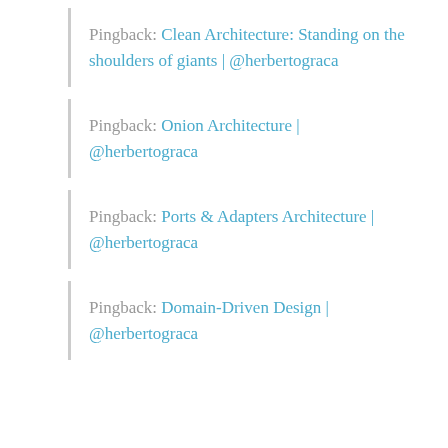Pingback: Clean Architecture: Standing on the shoulders of giants | @herbertograca
Pingback: Onion Architecture | @herbertograca
Pingback: Ports & Adapters Architecture | @herbertograca
Pingback: Domain-Driven Design | @herbertograca
Privacy & Cookies: This site uses cookies. By continuing to use this website, you agree to their use.
To find out more, including how to control cookies, see here: Cookie Policy
Close and accept